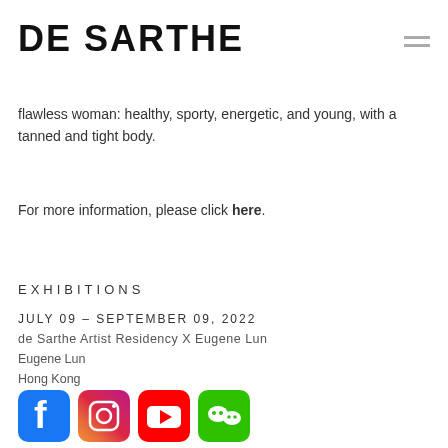DE SARTHE
flawless woman: healthy, sporty, energetic, and young, with a tanned and tight body.
For more information, please click here.
EXHIBITIONS
JULY 09 – SEPTEMBER 09, 2022
de Sarthe Artist Residency X Eugene Lun
Eugene Lun
Hong Kong
[Figure (other): Social media icons: Facebook (blue), Instagram (gradient pink/purple), YouTube (red), WeChat (green)]